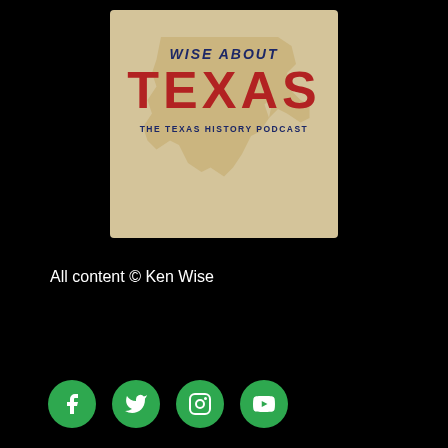[Figure (logo): Wise About Texas – The Texas History Podcast logo. Parchment/tan background with silhouette of Texas state. Text 'WISE ABOUT' in dark navy italic, 'TEXAS' in large bold red, 'THE TEXAS HISTORY PODCAST' in small dark navy uppercase.]
All content © Ken Wise
[Figure (infographic): Four social media icons (Facebook, Twitter/X, Instagram, YouTube) displayed as white symbols on green circular backgrounds.]